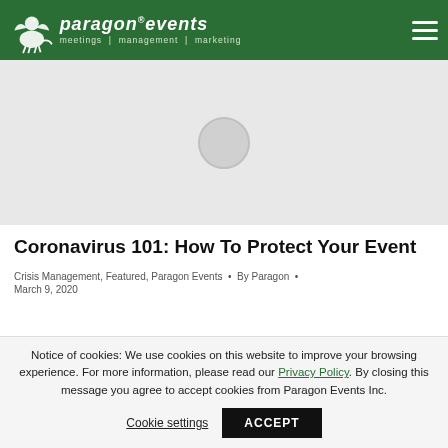paragon events — meetings | management | marketing
[Figure (photo): Hero image area with loading spinner placeholder, light gray background]
Coronavirus 101: How To Protect Your Event
Crisis Management, Featured, Paragon Events • By Paragon • March 9, 2020
Notice of cookies: We use cookies on this website to improve your browsing experience. For more information, please read our Privacy Policy. By closing this message you agree to accept cookies from Paragon Events Inc. Cookie settings ACCEPT